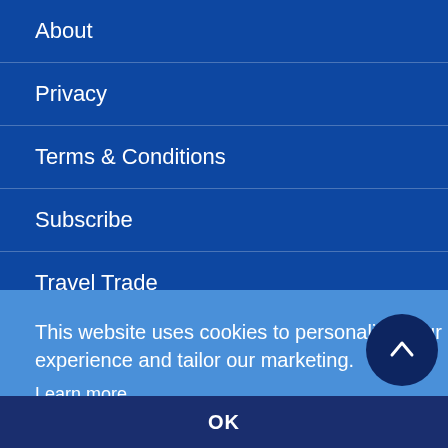About
Privacy
Terms & Conditions
Subscribe
Travel Trade
Contact Us
This website uses cookies to personalise your experience and tailor our marketing.
Learn more
ights
OK